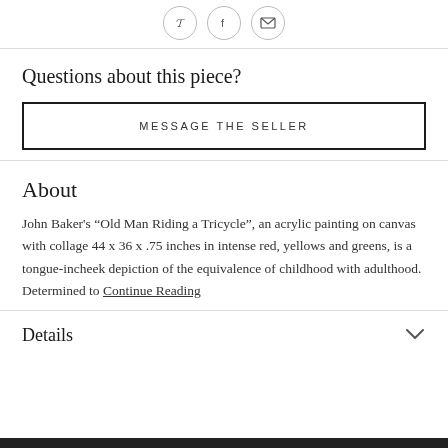[Figure (other): Three social sharing icon buttons in circles: Pinterest (P), Facebook (f), and Email (envelope)]
Questions about this piece?
MESSAGE THE SELLER
About
John Baker's “Old Man Riding a Tricycle”, an acrylic painting on canvas with collage 44 x 36 x .75 inches in intense red, yellows and greens, is a tongue-incheek depiction of the equivalence of childhood with adulthood. Determined to Continue Reading
Details